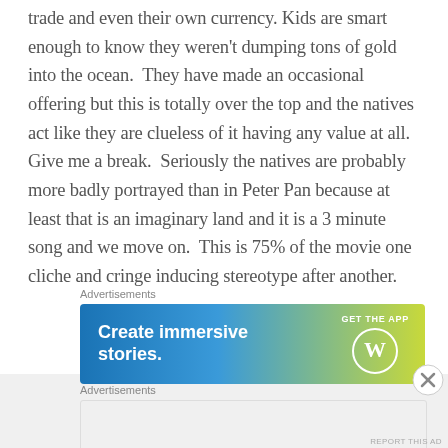trade and even their own currency. Kids are smart enough to know they weren't dumping tons of gold into the ocean.  They have made an occasional offering but this is totally over the top and the natives act like they are clueless of it having any value at all. Give me a break.  Seriously the natives are probably more badly portrayed than in Peter Pan because at least that is an imaginary land and it is a 3 minute song and we move on.  This is 75% of the movie one cliche and cringe inducing stereotype after another.
Advertisements
[Figure (other): WordPress app advertisement banner: gradient blue-to-yellow background with text 'Create immersive stories.' and 'GET THE APP' with WordPress logo circle]
Advertisements
[Figure (other): Second advertisement banner placeholder, light gray background]